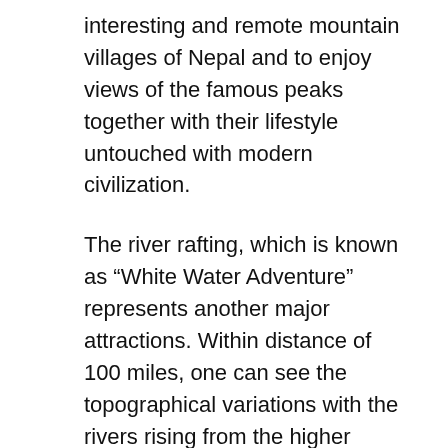interesting and remote mountain villages of Nepal and to enjoy views of the famous peaks together with their lifestyle untouched with modern civilization.
The river rafting, which is known as "White Water Adventure" represents another major attractions. Within distance of 100 miles, one can see the topographical variations with the rivers rising from the higher points near Nepal's Tibetan border and then dropping dramatically to lower levels the plains bordering India. For those who wish to view wildlife, Nepal offers plenty of scope. Of the eight National Parks and four Wildlife Reserves and two conservation areas in Nepal.
For the less adventures, Pokhara, the lake city of Nepal has no equal as it provides ample opportunities for fishing, swimming, canoeing and boating along with